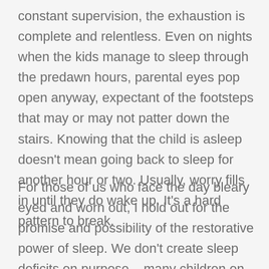constant supervision, the exhaustion is complete and relentless. Even on nights when the kids manage to sleep through the predawn hours, parental eyes pop open anyway, expectant of the footsteps that may or may not patter down the stairs. Knowing that the child is asleep doesn't mean going back to sleep for another hour or two. Usually, worry fills in until they do wake up. It's a hard pattern to break.
For those of us who face the day bleary eyed and worn out, I hold out for the promise and possibility of the restorative power of sleep. We don't create sleep deficits on purpose – many children on the autism spectrum have intractable sleep issues and keep parents up until all hours, and we use the few